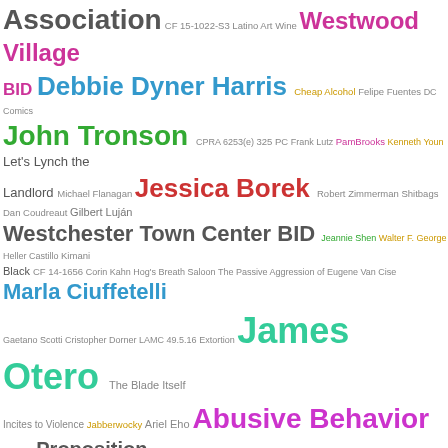[Figure (infographic): Word cloud featuring terms related to Los Angeles city government, public records, and local politics. Key terms include: Association, Westwood Village, BID, Debbie Dyner Harris, John Tronson, Jessica Borek, Westchester Town Center BID, Marla Ciuffetelli, James Otero, Abusive Behavior, Proposition 218, Wayne Spindler, Daily Activity Logs, Los Angeles Police Department, Los Angeles City Council, Central City Association, Bribery, Ref Rodriguez, and many others, in various font sizes and colors indicating frequency/importance.]